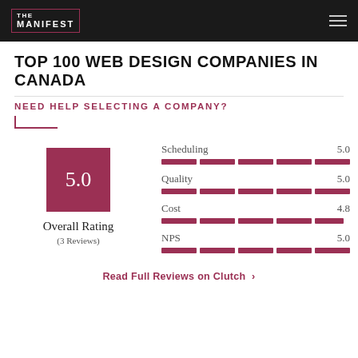THE MANIFEST
TOP 100 WEB DESIGN COMPANIES IN CANADA
NEED HELP SELECTING A COMPANY?
[Figure (infographic): Overall rating score box showing 5.0 with label Overall Rating (3 Reviews), alongside four metric bars: Scheduling 5.0, Quality 5.0, Cost 4.8, NPS 5.0]
Read Full Reviews on Clutch >